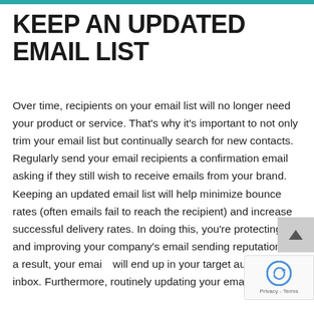KEEP AN UPDATED EMAIL LIST
Over time, recipients on your email list will no longer need your product or service. That's why it's important to not only trim your email list but continually search for new contacts. Regularly send your email recipients a confirmation email asking if they still wish to receive emails from your brand. Keeping an updated email list will help minimize bounce rates (often emails fail to reach the recipient) and increase successful delivery rates. In doing this, you're protecting and improving your company's email sending reputation. As a result, your emails will end up in your target audience's inbox. Furthermore, routinely updating your email list...